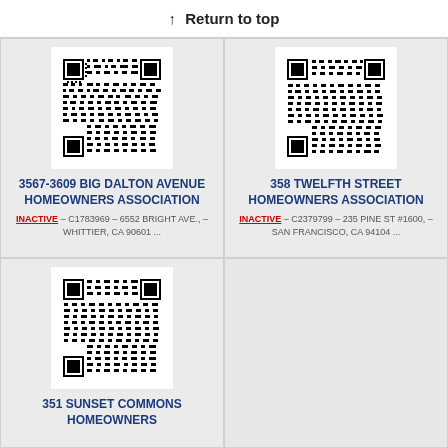↑ Return to top
[Figure (other): QR code for 3567-3609 Big Dalton Avenue Homeowners Association]
3567-3609 BIG DALTON AVENUE HOMEOWNERS ASSOCIATION
INACTIVE – C1783969 – 6552 BRIGHT AVE., – WHITTIER, CA 90601 ...
[Figure (other): QR code for 358 Twelfth Street Homeowners Association]
358 TWELFTH STREET HOMEOWNERS ASSOCIATION
INACTIVE – C2379799 – 235 PINE ST #1600, – SAN FRANCISCO, CA 94104 ...
[Figure (other): QR code for 351 Sunset Commons Homeowners Association]
351 SUNSET COMMONS HOMEOWNERS